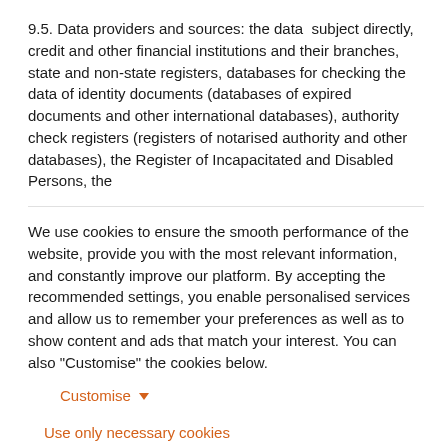9.5. Data providers and sources: the data subject directly, credit and other financial institutions and their branches, state and non-state registers, databases for checking the data of identity documents (databases of expired documents and other international databases), authority check registers (registers of notarised authority and other databases), the Register of Incapacitated and Disabled Persons, the
We use cookies to ensure the smooth performance of the website, provide you with the most relevant information, and constantly improve our platform. By accepting the recommended settings, you enable personalised services and allow us to remember your preferences as well as to show content and ads that match your interest. You can also "Customise" the cookies below.
Customise ▾
Use only necessary cookies
Accept recommended settings